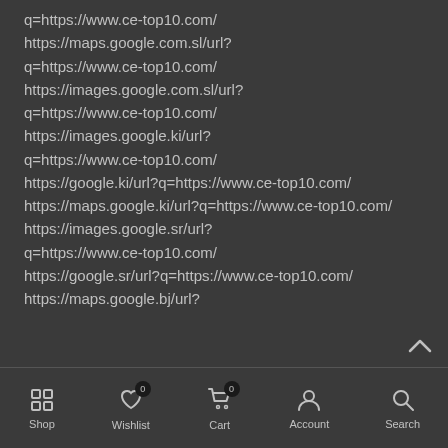q=https://www.ce-top10.com/ https://maps.google.com.sl/url?q=https://www.ce-top10.com/ https://images.google.com.sl/url?q=https://www.ce-top10.com/ https://images.google.ki/url?q=https://www.ce-top10.com/ https://google.ki/url?q=https://www.ce-top10.com/ https://maps.google.ki/url?q=https://www.ce-top10.com/ https://images.google.sr/url?q=https://www.ce-top10.com/ https://google.sr/url?q=https://www.ce-top10.com/ https://maps.google.bj/url?
Shop | Wishlist 0 | Cart 0 | Account | Search